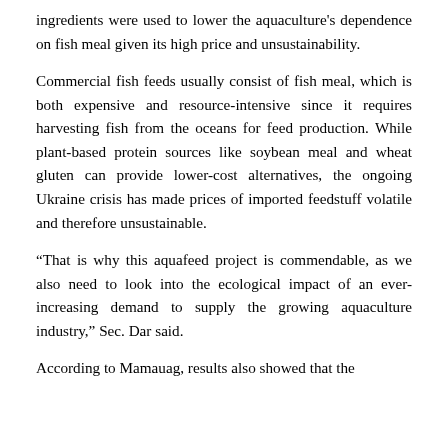ingredients were used to lower the aquaculture's dependence on fish meal given its high price and unsustainability.
Commercial fish feeds usually consist of fish meal, which is both expensive and resource-intensive since it requires harvesting fish from the oceans for feed production. While plant-based protein sources like soybean meal and wheat gluten can provide lower-cost alternatives, the ongoing Ukraine crisis has made prices of imported feedstuff volatile and therefore unsustainable.
“That is why this aquafeed project is commendable, as we also need to look into the ecological impact of an ever-increasing demand to supply the growing aquaculture industry,” Sec. Dar said.
According to Mamauag, results also showed that the